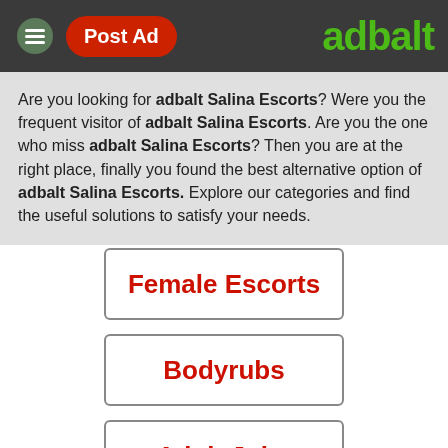Post Ad | adbalt
Are you looking for adbalt Salina Escorts? Were you the frequent visitor of adbalt Salina Escorts. Are you the one who miss adbalt Salina Escorts? Then you are at the right place, finally you found the best alternative option of adbalt Salina Escorts. Explore our categories and find the useful solutions to satisfy your needs.
Female Escorts
Bodyrubs
Adult Jobs